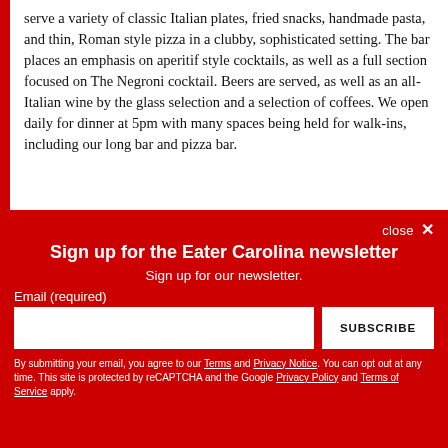serve a variety of classic Italian plates, fried snacks, handmade pasta, and thin, Roman style pizza in a clubby, sophisticated setting. The bar places an emphasis on aperitif style cocktails, as well as a full section focused on The Negroni cocktail. Beers are served, as well as an all-Italian wine by the glass selection and a selection of coffees. We open daily for dinner at 5pm with many spaces being held for walk-ins, including our long bar and pizza bar.
Sign up for the Eater Carolina newsletter
Sign up for our newsletter.
Email (required)
SUBSCRIBE
By submitting your email, you agree to our Terms and Privacy Notice. You can opt out at any time. This site is protected by reCAPTCHA and the Google Privacy Policy and Terms of Service apply.